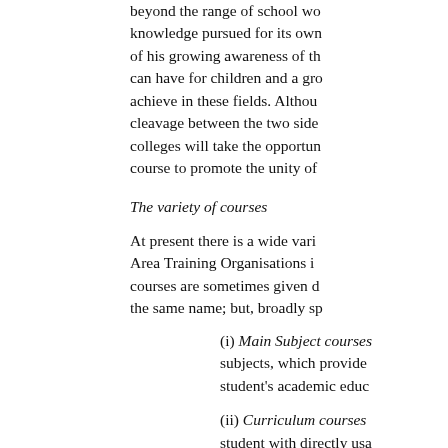beyond the range of school work, to knowledge pursued for its own sake and of his growing awareness of the value it can have for children and a greater urge to achieve in these fields. Although the cleavage between the two sides remains, colleges will take the opportunity this course to promote the unity of
The variety of courses
At present there is a wide variety. Area Training Organisations in courses are sometimes given different the same name; but, broadly sp
(i) Main Subject courses subjects, which provide student's academic educ
(ii) Curriculum courses student with directly usa Such courses vary wide number provided, in the which they are taken. So rehabilitation courses w